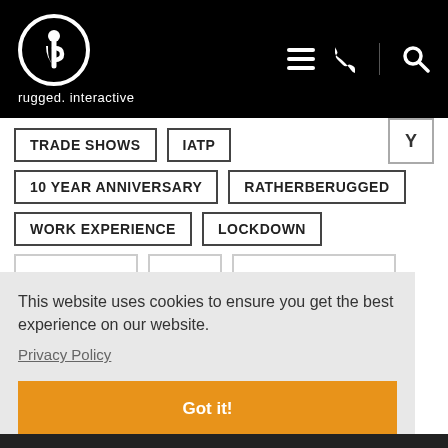[Figure (logo): Rugged Interactive logo: white circle with stylized 'ri' figure, text 'rugged. interactive' below, on black header bar with hamburger menu, phone, and search icons]
TRADE SHOWS
IATP
10 YEAR ANNIVERSARY
RATHERBERUGGED
WORK EXPERIENCE
LOCKDOWN
This website uses cookies to ensure you get the best experience on our website.
Privacy Policy
Got it!